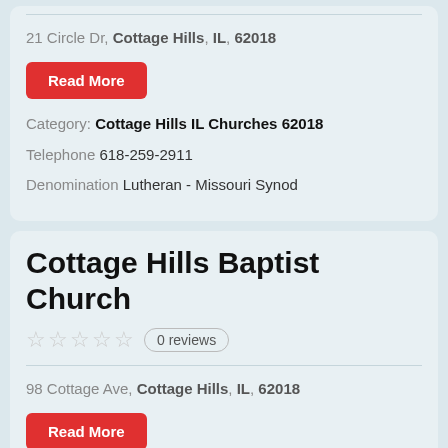21 Circle Dr, Cottage Hills, IL, 62018
Read More
Category: Cottage Hills IL Churches 62018
Telephone  618-259-2911
Denomination  Lutheran - Missouri Synod
Cottage Hills Baptist Church
0 reviews
98 Cottage Ave, Cottage Hills, IL, 62018
Read More
Category: Cottage Hills IL Churches 62018